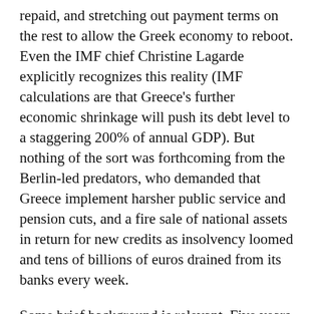repaid, and stretching out payment terms on the rest to allow the Greek economy to reboot. Even the IMF chief Christine Lagarde explicitly recognizes this reality (IMF calculations are that Greece’s further economic shrinkage will push its debt level to a staggering 200% of annual GDP). But nothing of the sort was forthcoming from the Berlin-led predators, who demanded that Greece implement harsher public service and pension cuts, and a fire sale of national assets in return for new credits as insolvency loomed and tens of billions of euros drained from its banks every week.
Some brief background is relevant. Five years ago, the German-led European “institutions” bailed out the private lenders that had made wildly imprudent loans to Greece, converting these into debts to the ECB and effectively the taxpayers of Europe — making them politically much harder to reduce or forgive.